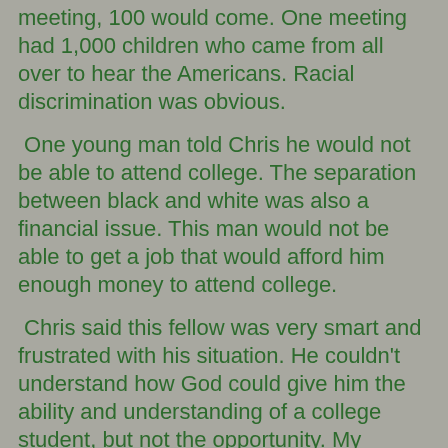meeting, 100 would come. One meeting had 1,000 children who came from all over to hear the Americans. Racial discrimination was obvious.
One young man told Chris he would not be able to attend college. The separation between black and white was also a financial issue. This man would not be able to get a job that would afford him enough money to attend college.
Chris said this fellow was very smart and frustrated with his situation. He couldn't understand how God could give him the ability and understanding of a college student, but not the opportunity. My answer was for him to think outside the box. Easier said than done, I know.
As Christians we need to be sensitive to the needs and feelings of others. Chris is in the United States again, and I don't know if he will ever have the